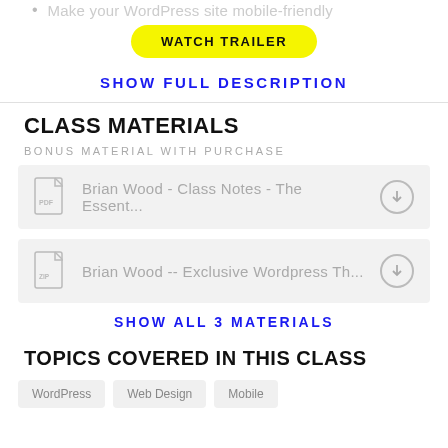Make your WordPress site mobile-friendly
WATCH TRAILER
SHOW FULL DESCRIPTION
CLASS MATERIALS
BONUS MATERIAL WITH PURCHASE
Brian Wood - Class Notes - The Essent...
Brian Wood -- Exclusive Wordpress Th...
SHOW ALL 3 MATERIALS
TOPICS COVERED IN THIS CLASS